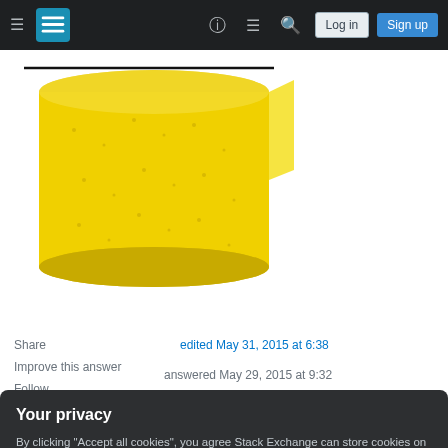Stack Exchange navigation bar with hamburger menu, logo, help, chat, search icons, Log in and Sign up buttons
[Figure (photo): Yellow foam/sponge cylindrical roll on white background]
Share
Improve this answer
Follow
edited May 31, 2015 at 6:38
answered May 29, 2015 at 9:32
Your privacy
By clicking "Accept all cookies", you agree Stack Exchange can store cookies on your device and disclose information in accordance with our Cookie Policy.
Accept all cookies
Customize settings
I've been using these daily for several years now.